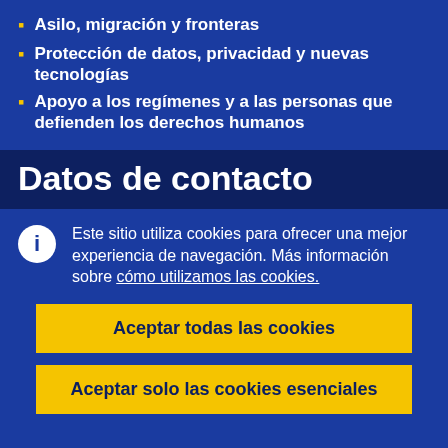Asilo, migración y fronteras
Protección de datos, privacidad y nuevas tecnologías
Apoyo a los regímenes y a las personas que defienden los derechos humanos
Datos de contacto
Este sitio utiliza cookies para ofrecer una mejor experiencia de navegación. Más información sobre cómo utilizamos las cookies.
Aceptar todas las cookies
Aceptar solo las cookies esenciales